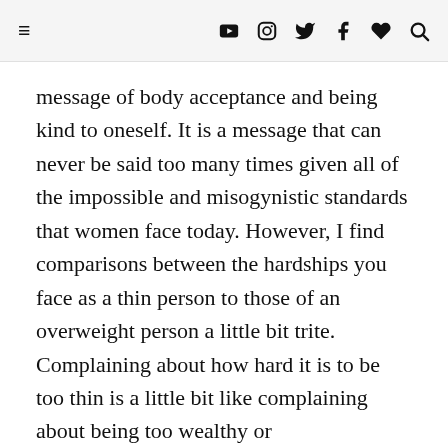☰ ▶ 📷 🐦 f ♥ 🔍
message of body acceptance and being kind to oneself. It is a message that can never be said too many times given all of the impossible and misogynistic standards that women face today. However, I find comparisons between the hardships you face as a thin person to those of an overweight person a little bit trite. Complaining about how hard it is to be too thin is a little bit like complaining about being too wealthy or